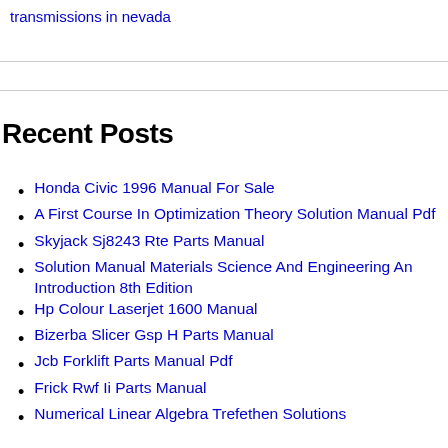transmissions in nevada
Recent Posts
Honda Civic 1996 Manual For Sale
A First Course In Optimization Theory Solution Manual Pdf
Skyjack Sj8243 Rte Parts Manual
Solution Manual Materials Science And Engineering An Introduction 8th Edition
Hp Colour Laserjet 1600 Manual
Bizerba Slicer Gsp H Parts Manual
Jcb Forklift Parts Manual Pdf
Frick Rwf Ii Parts Manual
Numerical Linear Algebra Trefethen Solutions